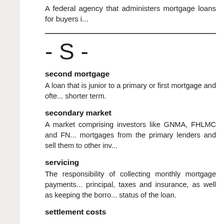A federal agency that administers mortgage loans for buyers i...
- S -
second mortgage
A loan that is junior to a primary or first mortgage and often has a shorter term.
secondary market
A market comprising investors like GNMA, FHLMC and FN... mortgages from the primary lenders and sell them to other inv...
servicing
The responsibility of collecting monthly mortgage payments... principal, taxes and insurance, as well as keeping the borrow... status of the loan.
settlement costs